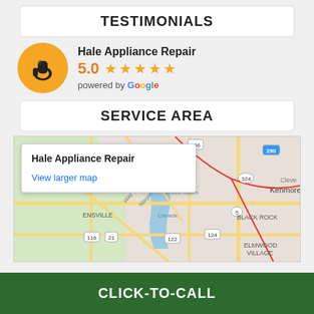TESTIMONIALS
[Figure (logo): Hale Appliance Repair logo: yellow circle with a hand holding a wrench]
Hale Appliance Repair
5.0 ★★★★★ powered by Google
SERVICE AREA
[Figure (map): Google Map showing the service area around Buffalo NY / Niagara area with a popup showing Hale Appliance Repair and a View larger map link]
Hale Appliance Repair
View larger map
CLICK-TO-CALL